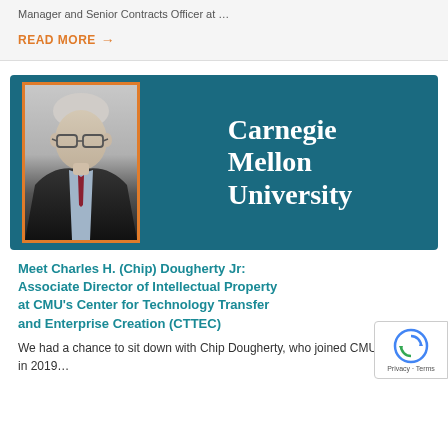Manager and Senior Contracts Officer at …
READ MORE →
[Figure (photo): Carnegie Mellon University banner with a professional headshot of a man with grey hair and glasses in a dark suit, inside an orange-bordered frame, against a teal background with 'Carnegie Mellon University' text in white serif font.]
Meet Charles H. (Chip) Dougherty Jr: Associate Director of Intellectual Property at CMU's Center for Technology Transfer and Enterprise Creation (CTTEC)
We had a chance to sit down with Chip Dougherty, who joined CMU/CTTEC in 2019…